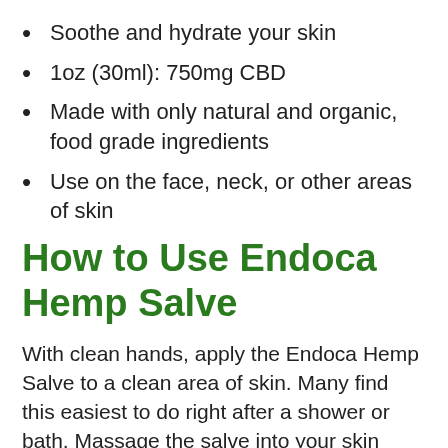Soothe and hydrate your skin
1oz (30ml): 750mg CBD
Made with only natural and organic, food grade ingredients
Use on the face, neck, or other areas of skin
How to Use Endoca Hemp Salve
With clean hands, apply the Endoca Hemp Salve to a clean area of skin. Many find this easiest to do right after a shower or bath. Massage the salve into your skin until satisfied; then go about your day as the salve absorbs into your skin and does its job!